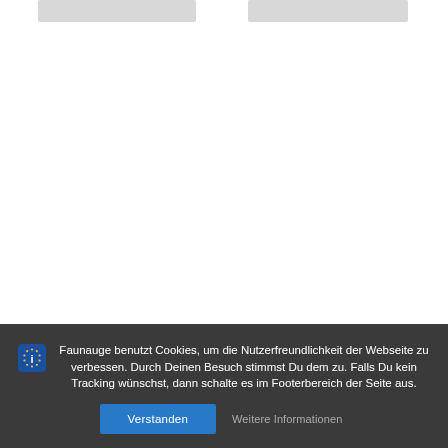[Figure (other): Two gray placeholder image cards at the top of the page]
Faunauge benutzt Cookies, um die Nutzerfreundlichkeit der Webseite zu verbessen. Durch Deinen Besuch stimmst Du dem zu. Falls Du kein Tracking wünschst, dann schalte es im Footerbereich der Seite aus.
Verstanden
Weitere Informationen